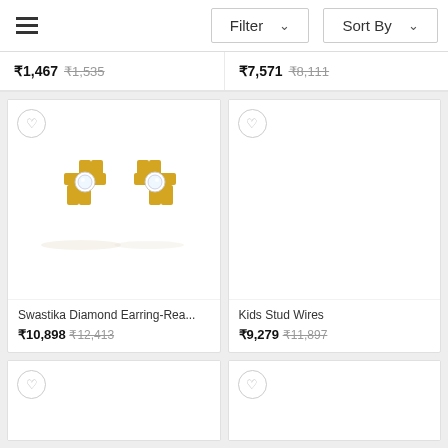Filter  Sort By
₹1,467 (₹1,535)  ₹7,571 (₹8,111)
[Figure (photo): Gold swastika diamond stud earrings pair on white background]
Swastika Diamond Earring-Rea...
₹10,898 (₹12,413)
[Figure (photo): Kids Stud Wires product image area (blank/white)]
Kids Stud Wires
₹9,279 (₹11,897)